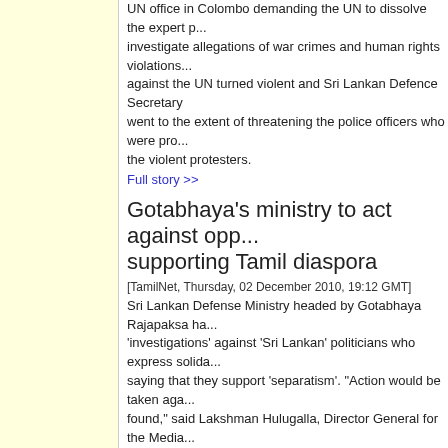UN office in Colombo demanding the UN to dissolve the expert panel to investigate allegations of war crimes and human rights violations... against the UN turned violent and Sri Lankan Defence Secretary went to the extent of threatening the police officers who were pro... the violent protesters.
Full story >>
Gotabhaya's ministry to act against opp... supporting Tamil diaspora
[TamilNet, Thursday, 02 December 2010, 19:12 GMT]
Sri Lankan Defense Ministry headed by Gotabhaya Rajapaksa ha... 'investigations' against 'Sri Lankan' politicians who express solida... saying that they support 'separatism'. "Action would be taken aga... found," said Lakshman Hulugalla, Director General for the Media... Security at a hurriedly arranged media briefing held Thursday.
Full story >>
Leaked video shows LTTE commander... custody
[TamilNet, Thursday, 02 December 2010, 12:36 GMT]
A video clip has surfaced on YouTube Thursday showing LTTE's... Col. Ramesh in the custody of Sri Lankan soldiers, after he reach... captured Vadduvaakal with civilians on 18 May 2009. TamilNet ha... person who witnessed Ramesh reaching Vadduvaakal unarmed d... eyewitness, fleeing the island, also confirmed that Ramesh was i... personnel and separated from civilians. The latest information on... seconds video that has been leaked out on the Internet.
Full story >>
Vanni parliamentarian Mashoor dies of h...
[TamilNet, Thursday, 02 December 2010, 05:31 GMT]
Sri Lanka Muslim Congress (SLMC) Vanni District Parliamentaria... from a heart attack on Thursday morning. He reportedly died...